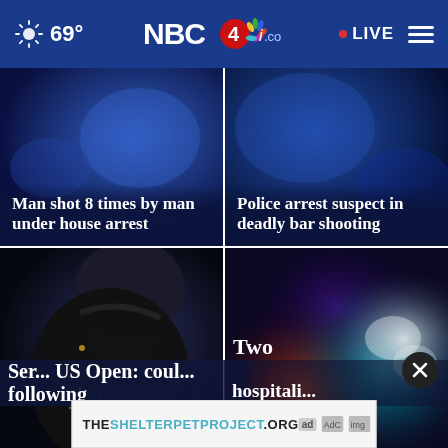NBC4i.com — 69° — LIVE
[Figure (photo): Blue police/news photo background with headline: Man shot 8 times by man under house arrest]
[Figure (photo): Blue police/news photo background with headline: Police arrest suspect in deadly bar shooting]
[Figure (photo): Photo of Serena Williams bowing head with partial headline: Serena... US Open: coul... following]
[Figure (photo): Police car lights photo with partial headline: Two... hospitali...]
[Figure (screenshot): Ad banner: THESHELTERPETPROJECT.ORG with ad choice icons]